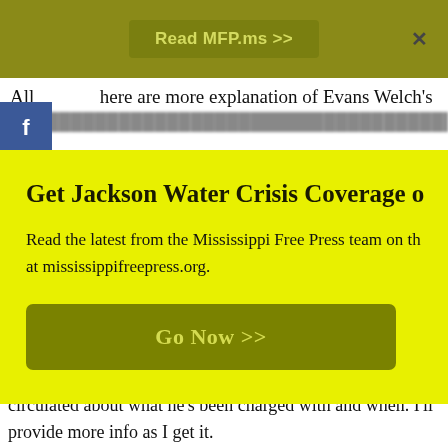Read MFP.ms >>
All here are more explanation of Evans Welch's arrest
Get Jackson Water Crisis Coverage o…
Read the latest from the Mississippi Free Press team on th… at mississippifreepress.org.
[Figure (screenshot): Yellow/green modal popup with 'Go Now >>' button in olive green]
Hospital, it would be two months before he could get a bed there. I hope this clears up any confusion that may be circulated about what he's been charged with and when. I'll provide more info as I get it.